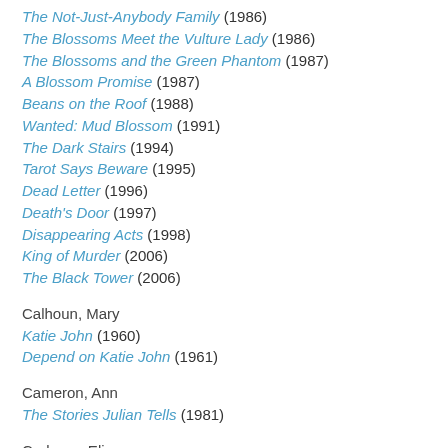The Not-Just-Anybody Family (1986)
The Blossoms Meet the Vulture Lady (1986)
The Blossoms and the Green Phantom (1987)
A Blossom Promise (1987)
Beans on the Roof (1988)
Wanted: Mud Blossom (1991)
The Dark Stairs (1994)
Tarot Says Beware (1995)
Dead Letter (1996)
Death's Door (1997)
Disappearing Acts (1998)
King of Murder (2006)
The Black Tower (2006)
Calhoun, Mary
Katie John (1960)
Depend on Katie John (1961)
Cameron, Ann
The Stories Julian Tells (1981)
Carbone, Elisa